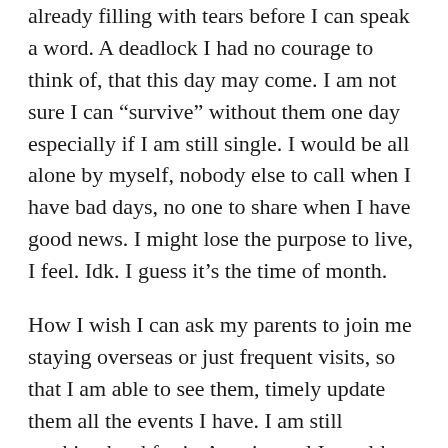already filling with tears before I can speak a word. A deadlock I had no courage to think of, that this day may come. I am not sure I can “survive” without them one day especially if I am still single. I would be all alone by myself, nobody else to call when I have bad days, no one to share when I have good news. I might lose the purpose to live, I feel. Idk. I guess it’s the time of month.
How I wish I can ask my parents to join me staying overseas or just frequent visits, so that I am able to see them, timely update them all the events I have. I am still working hard for it. A main goal I would want to achieve, even if I am married one day. So that, they can see me often, feed us with good food and shower their grandchildren with love.
Nothing in the world is permanent, and we’re